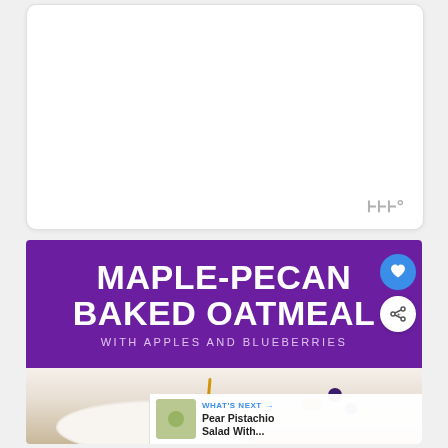[Figure (other): White rounded card placeholder area with a Tailwind logo watermark (three bars and degree symbol) in gray at the bottom right]
[Figure (photo): Food blog recipe image for Maple-Pecan Baked Oatmeal with Apples and Blueberries. Purple banner with white bold title text at top, below which is a partial food photo showing a white dish with oatmeal, syrup drizzle, and blueberries. Heart favorite button (blue circle) and share button (white circle) on right side. 'What's Next' bar at bottom right showing Pear Pistachio Salad With... thumbnail and text.]